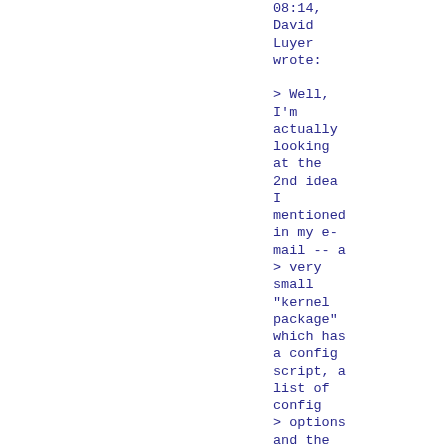08:14, David Luyer wrote:

> Well, I'm actually looking at the 2nd idea I mentioned in my e-mail -- a
> very small "kernel package" which has a config script, a list of config
> options and the files they depend on and an